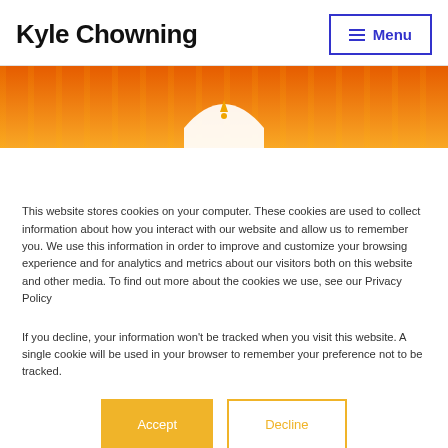Kyle Chowning  Menu
[Figure (illustration): Orange banner image with repeating vertical bar pattern and a white arch/dome shape in the center bottom]
This website stores cookies on your computer. These cookies are used to collect information about how you interact with our website and allow us to remember you. We use this information in order to improve and customize your browsing experience and for analytics and metrics about our visitors both on this website and other media. To find out more about the cookies we use, see our Privacy Policy
If you decline, your information won't be tracked when you visit this website. A single cookie will be used in your browser to remember your preference not to be tracked.
Accept   Decline